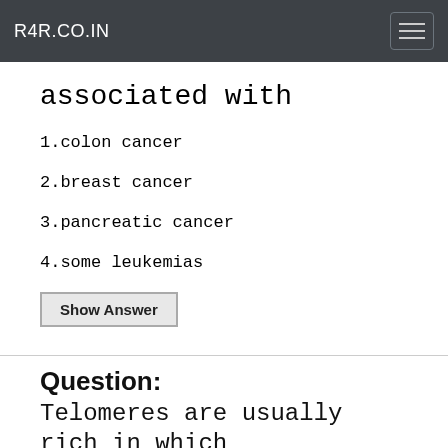R4R.CO.IN
associated with
1.colon cancer
2.breast cancer
3.pancreatic cancer
4.some leukemias
Show Answer
Question: Telomeres are usually rich in which nucleotide?